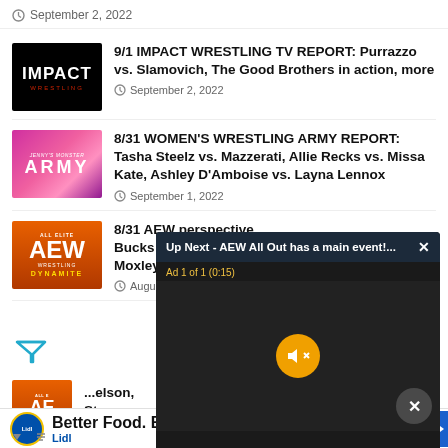September 2, 2022
9/1 IMPACT WRESTLING TV REPORT: Purrazzo vs. Slamovich, The Good Brothers in action, more
September 2, 2022
8/31 WOMEN'S WRESTLING ARMY REPORT: Tasha Steelz vs. Mazzerati, Allie Recks vs. Missa Kate, Ashley D'Amboise vs. Layna Lennox
September 1, 2022
8/31 AEW perspective Bucks vs. W Moxley Sp
August 31...
[Figure (screenshot): Video popup overlay: 'Up Next - AEW All Out has a main event!...' with Ad 1 of 1 (0:15) label and mute button]
Better Food. Betterer Prices Lidl